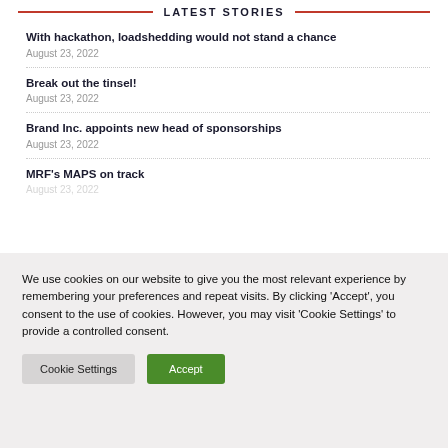LATEST STORIES
With hackathon, loadshedding would not stand a chance
August 23, 2022
Break out the tinsel!
August 23, 2022
Brand Inc. appoints new head of sponsorships
August 23, 2022
MRF's MAPS on track
August 23, 2022
We use cookies on our website to give you the most relevant experience by remembering your preferences and repeat visits. By clicking 'Accept', you consent to the use of cookies. However, you may visit 'Cookie Settings' to provide a controlled consent.